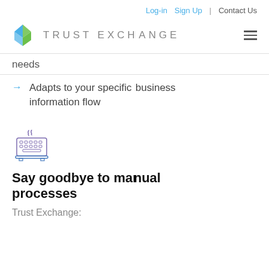Log-in  Sign Up  |  Contact Us
[Figure (logo): Trust Exchange logo with blue and green diamond shapes and brand name TRUST EXCHANGE]
needs
Adapts to your specific business information flow
[Figure (illustration): Outline icon of a keyboard/typewriter in purple and blue]
Say goodbye to manual processes
Trust Exchange: